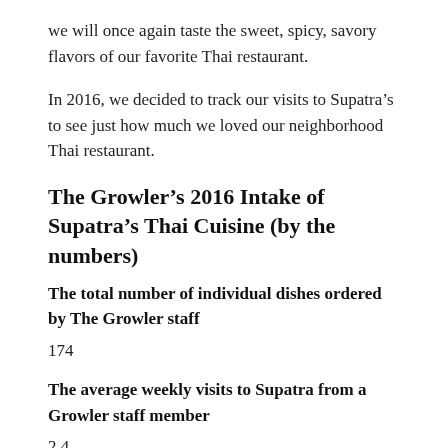we will once again taste the sweet, spicy, savory flavors of our favorite Thai restaurant.
In 2016, we decided to track our visits to Supatra’s to see just how much we loved our neighborhood Thai restaurant.
The Growler’s 2016 Intake of Supatra’s Thai Cuisine (by the numbers)
The total number of individual dishes ordered by The Growler staff
174
The average weekly visits to Supatra from a Growler staff member
2.4